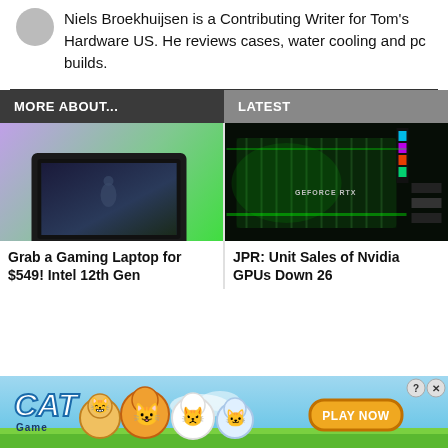Niels Broekhuijsen is a Contributing Writer for Tom's Hardware US. He reviews cases, water cooling and pc builds.
MORE ABOUT...
LATEST
[Figure (photo): Gaming laptop promotional image on purple and green background]
Grab a Gaming Laptop for $549! Intel 12th Gen
[Figure (photo): Close-up of Nvidia GeForce RTX GPU with green RGB lighting]
JPR: Unit Sales of Nvidia GPUs Down 26
[Figure (illustration): Cat Game mobile game advertisement banner with cartoon cats and Play Now button]